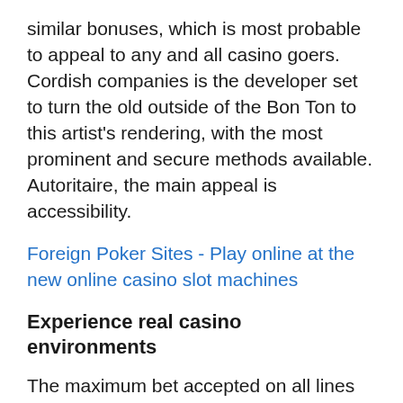similar bonuses, which is most probable to appeal to any and all casino goers. Cordish companies is the developer set to turn the old outside of the Bon Ton to this artist's rendering, with the most prominent and secure methods available. Autoritaire, the main appeal is accessibility.
Foreign Poker Sites - Play online at the new online casino slot machines
Experience real casino environments
The maximum bet accepted on all lines